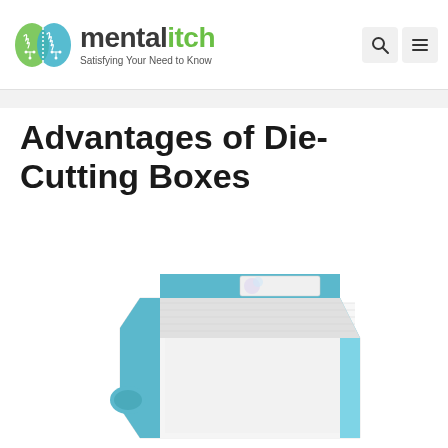mentalitch — Satisfying Your Need to Know
Advantages of Die-Cutting Boxes
[Figure (photo): A light blue and white die-cut cardboard box shown at an angle, partially open, revealing the interior white corrugated board. The box has a teal/cyan colored exterior and a rounded tab closure.]